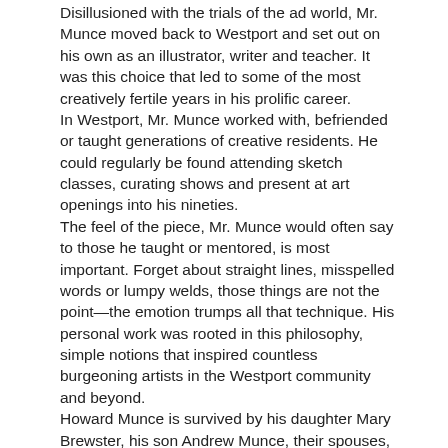Disillusioned with the trials of the ad world, Mr. Munce moved back to Westport and set out on his own as an illustrator, writer and teacher. It was this choice that led to some of the most creatively fertile years in his prolific career.
In Westport, Mr. Munce worked with, befriended or taught generations of creative residents. He could regularly be found attending sketch classes, curating shows and present at art openings into his nineties.
The feel of the piece, Mr. Munce would often say to those he taught or mentored, is most important. Forget about straight lines, misspelled words or lumpy welds, those things are not the point—the emotion trumps all that technique. His personal work was rooted in this philosophy, simple notions that inspired countless burgeoning artists in the Westport community and beyond.
Howard Munce is survived by his daughter Mary Brewster, his son Andrew Munce, their spouses, their children and their children's children. As well as his sister-in-law Agnes Conover and the descendants of his late wife, Geraldine Conover.